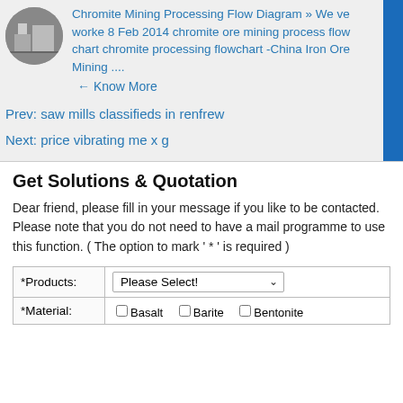Chromite Mining Processing Flow Diagram » We ve worke 8 Feb 2014 chromite ore mining process flow chart chromite processing flowchart -China Iron Ore Mining ....
← Know More
Prev: saw mills classifieds in renfrew
Next: price vibrating me x g
Get Solutions & Quotation
Dear friend, please fill in your message if you like to be contacted. Please note that you do not need to have a mail programme to use this function. ( The option to mark ' * ' is required )
| *Products: | Please Select! |
| --- | --- |
| *Material: | Basalt  Barite  Bentonite |